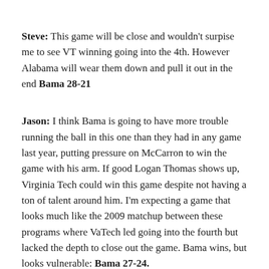Steve: This game will be close and wouldn't surpise me to see VT winning going into the 4th. However Alabama will wear them down and pull it out in the end Bama 28-21
Jason: I think Bama is going to have more trouble running the ball in this one than they had in any game last year, putting pressure on McCarron to win the game with his arm. If good Logan Thomas shows up, Virginia Tech could win this game despite not having a ton of talent around him. I'm expecting a game that looks much like the 2009 matchup between these programs where VaTech led going into the fourth but lacked the depth to close out the game. Bama wins, but looks vulnerable: Bama 27-24.